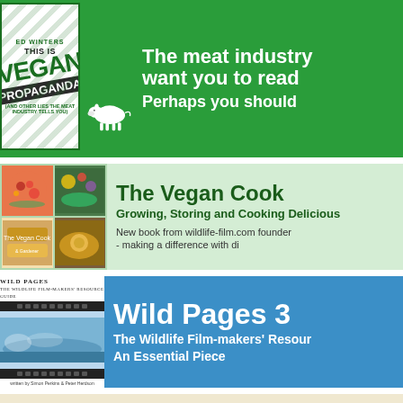[Figure (illustration): Banner advertisement for 'This Is Vegan Propaganda' by Ed Winters showing book cover with a white cow figurine on green background with text: The meat industry want you to read / Perhaps you should]
[Figure (illustration): Banner advertisement for 'The Vegan Cook & Gardener' book showing food photography collage on light green background with text: The Vegan Cook / Growing, Storing and Cooking Delicious / New book from wildlife-film.com founder / - making a difference with di]
[Figure (illustration): Banner advertisement for 'Wild Pages 3 - The Wildlife Film-makers Resource' on blue background with filmstrip imagery, text: Wild Pages 3 / The Wildlife Film-makers Resour / An Essential Piece]
[Figure (illustration): Partial view of a fourth banner at the bottom of the page, partially cut off]